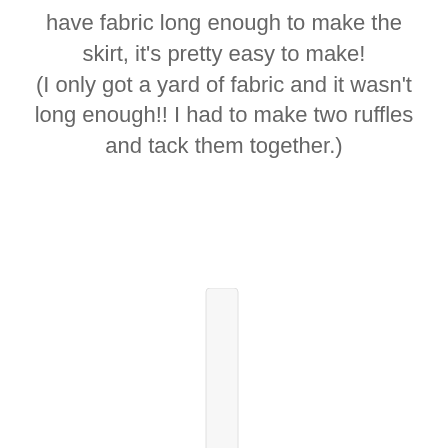have fabric long enough to make the skirt, it's pretty easy to make!
(I only got a yard of fabric and it wasn't long enough!! I had to make two ruffles and tack them together.)
[Figure (other): A vertical scroll bar / UI element rendered as a narrow white rounded rectangle in the center of the page]
[Figure (other): A smaller vertical scroll bar / UI element at the bottom of the page, partially visible]